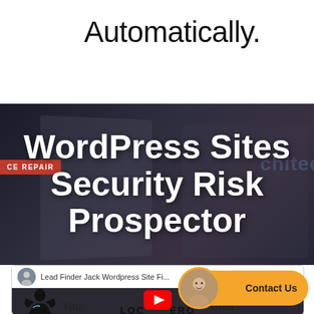Automatically.
[Figure (screenshot): Dark background image showing office/tech environment with text overlay 'WordPress Sites Security Risk Prospector' in white bold font, and a small red tag reading 'CE REPAIR' on the left side.]
Lead Finder Jack Wordpress Site Fi...
[Figure (screenshot): YouTube video thumbnail showing a superhero character and YouTube play button with text 'You... then... LOCO...ERO']
Contact Us